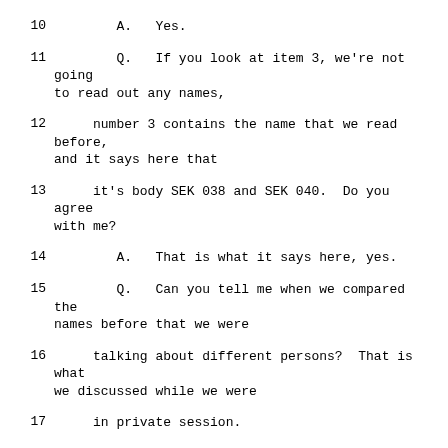10    A.   Yes.
11    Q.   If you look at item 3, we're not going to read out any names,
12    number 3 contains the name that we read before, and it says here that
13    it's body SEK 038 and SEK 040.  Do you agree with me?
14    A.   That is what it says here, yes.
15    Q.   Can you tell me when we compared the names before that we were
16    talking about different persons?  That is what we discussed while we were
17    in private session.